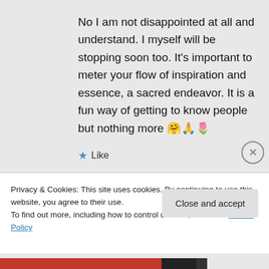No I am not disappointed at all and understand. I myself will be stopping soon too. It's important to meter your flow of inspiration and essence, a sacred endeavor. It is a fun way of getting to know people but nothing more 🤗🙏🌷
★ Like
Log in to Reply
Privacy & Cookies: This site uses cookies. By continuing to use this website, you agree to their use.
To find out more, including how to control cookies, see here: Cookie Policy
Close and accept